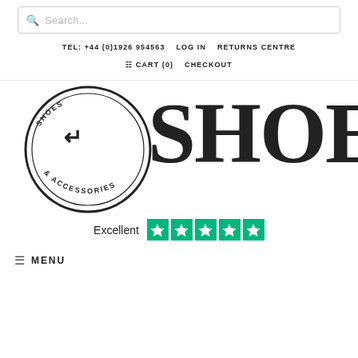Search...
TEL: +44 (0)1926 954563   LOG IN   RETURNS CENTRE
CART (0)   CHECKOUT
[Figure (logo): Shoes & Accessories store logo — circular badge with 'SHOES & ACCESSORIES' text and a large 'SHOES' wordmark]
Excellent ★★★★★
≡ MENU